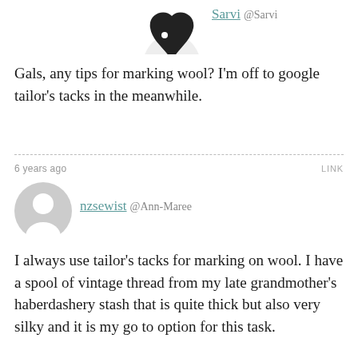[Figure (illustration): Partial avatar of Sarvi user — dark bird/leaf shape on white background, cropped at top]
Sarvi @Sarvi
Gals, any tips for marking wool? I'm off to google tailor's tacks in the meanwhile.
6 years ago
LINK
[Figure (illustration): Default grey avatar circle with person silhouette for nzsewist]
nzsewist @Ann-Maree
I always use tailor's tacks for marking on wool. I have a spool of vintage thread from my late grandmother's haberdashery stash that is quite thick but also very silky and it is my go to option for this task.
6 years ago
LINK
[Figure (illustration): Avatar of Sarvi user — dark bird/leaf shape icon]
Sarvi @Sarvi
Ok, good tip — I have some thread a bit like that in a bright color I don't often use — will